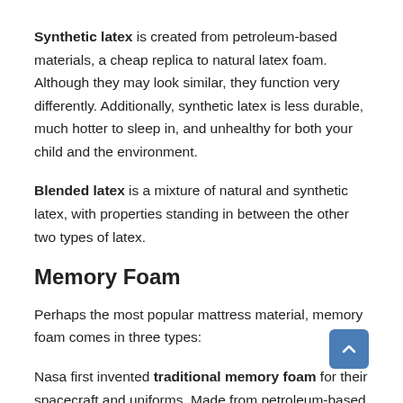Synthetic latex is created from petroleum-based materials, a cheap replica to natural latex foam. Although they may look similar, they function very differently. Additionally, synthetic latex is less durable, much hotter to sleep in, and unhealthy for both your child and the environment.
Blended latex is a mixture of natural and synthetic latex, with properties standing in between the other two types of latex.
Memory Foam
Perhaps the most popular mattress material, memory foam comes in three types:
Nasa first invented traditional memory foam for their spacecraft and uniforms. Made from petroleum-based